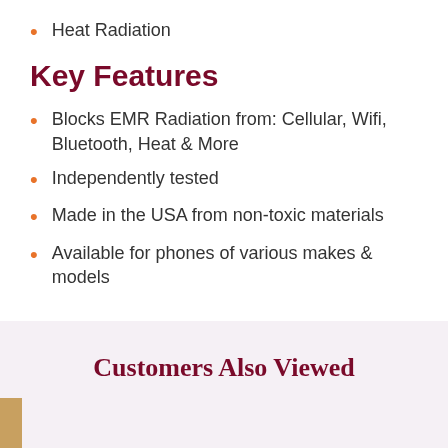Heat Radiation
Key Features
Blocks EMR Radiation from: Cellular, Wifi, Bluetooth, Heat & More
Independently tested
Made in the USA from non-toxic materials
Available for phones of various makes & models
Customers Also Viewed